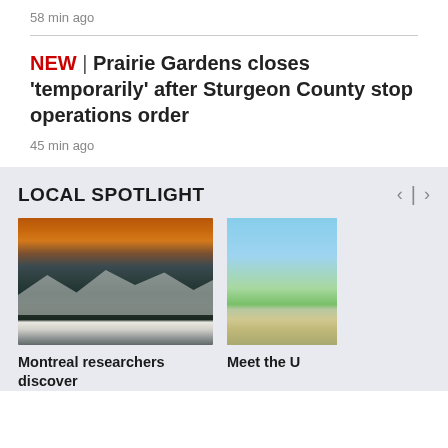58 min ago
NEW | Prairie Gardens closes 'temporarily' after Sturgeon County stop operations order
45 min ago
LOCAL SPOTLIGHT
[Figure (photo): Stormy ocean waves at sunset with orange sky]
Montreal researchers discover
[Figure (photo): Park pathway with lamp posts and green trees under blue sky]
Meet the U